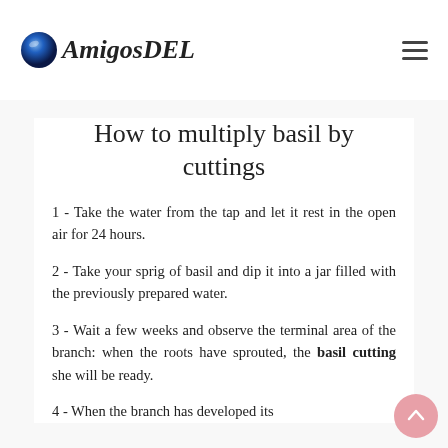AmigosDEL
How to multiply basil by cuttings
1 - Take the water from the tap and let it rest in the open air for 24 hours.
2 - Take your sprig of basil and dip it into a jar filled with the previously prepared water.
3 - Wait a few weeks and observe the terminal area of the branch: when the roots have sprouted, the basil cutting she will be ready.
4 - When the branch has developed its